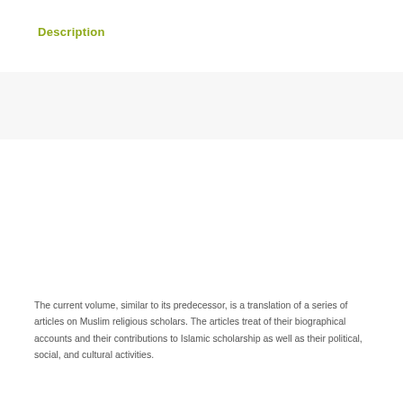Description
Reviews
The current volume, similar to its predecessor, is a translation of a series of articles on Muslim religious scholars. The articles treat of their biographical accounts and their contributions to Islamic scholarship as well as their political, social, and cultural activities.
This volume includes the articles devoted to the biographical accounts of Muslim Scholars, e.g. Ayatollah Abi al-Qasim Khu'i and Baha' al-Din al-'Amili, selected from 17 hitherto published volumes of the Encyclopaedia of the World of Islam (EWI) which was originally compiled in Persiam.
Other entries from this encyclopaedia which are available in